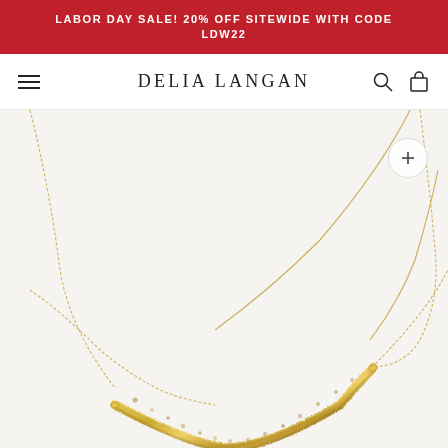LABOR DAY SALE! 20% OFF SITEWIDE WITH CODE LDW22
DELIA LANGAN
[Figure (photo): Product photo of a gold hammered bar necklace with delicate chain on a white/light background. The bar is curved and has a hammered texture with a gold tone finish. A circular zoom/expand button with a plus icon is visible in the upper right corner of the image.]